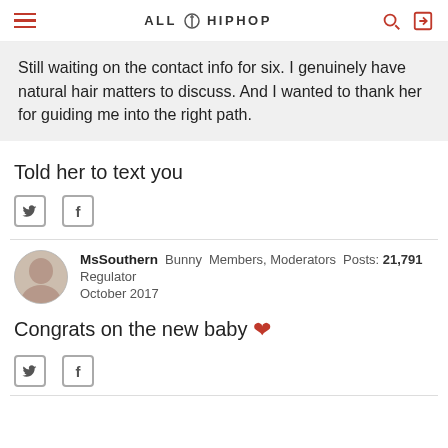ALL HIP HOP
Still waiting on the contact info for six. I genuinely have natural hair matters to discuss. And I wanted to thank her for guiding me into the right path.
Told her to text you
MsSouthern  Bunny  Members, Moderators  Posts: 21,791  Regulator  October 2017
Congrats on the new baby ❤